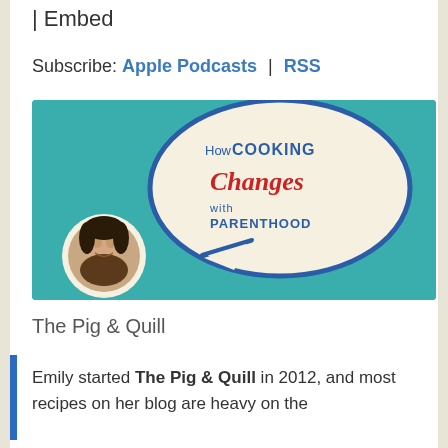| Embed
Subscribe: Apple Podcasts | RSS
[Figure (illustration): Podcast thumbnail for 'How COOKING Changes with PARENTHOOD' featuring a teal background with a speech bubble containing the podcast title in blue and red text, and a circular photo of the host (Asian woman smiling) in the lower left.]
The Pig & Quill
Emily started The Pig & Quill in 2012, and most recipes on her blog are heavy on the